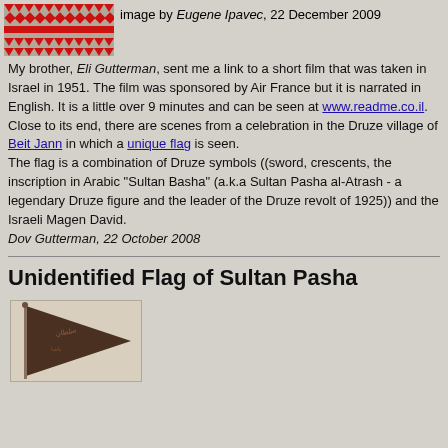[Figure (photo): Decorative Druze-style flag image with red and white geometric patterns]
image by Eugene Ipavec, 22 December 2009
My brother, Eli Gutterman, sent me a link to a short film that was taken in Israel in 1951. The film was sponsored by Air France but it is narrated in English. It is a little over 9 minutes and can be seen at www.readme.co.il.
Close to its end, there are scenes from a celebration in the Druze village of Beit Jann in which a unique flag is seen.
The flag is a combination of Druze symbols ((sword, crescents, the inscription in Arabic "Sultan Basha" (a.k.a Sultan Pasha al-Atrash - a legendary Druze figure and the leader of the Druze revolt of 1925)) and the Israeli Magen David.
Dov Gutterman, 22 October 2008
Unidentified Flag of Sultan Pasha
[Figure (photo): Historical photograph of a triangular dark-colored flag with Arabic inscription, appearing to be the Sultan Pasha flag]